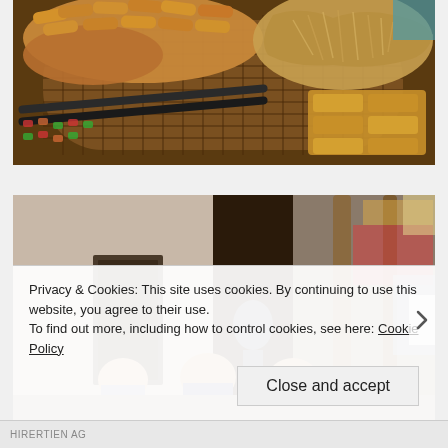[Figure (photo): Close-up of a large round wicker/bamboo tray at a street food market displaying various fried snacks: spring rolls piled on the left, shredded fried food in the upper right, flat fried items in the lower right, and tongs resting on the tray.]
[Figure (photo): Street scene showing the front of a building with children standing near the entrance. The left side shows a plain wall and door, the right side shows an outdoor market area with wooden poles and colorful stalls in the background.]
Privacy & Cookies: This site uses cookies. By continuing to use this website, you agree to their use.
To find out more, including how to control cookies, see here: Cookie Policy
Close and accept
HIRERTIEN AG